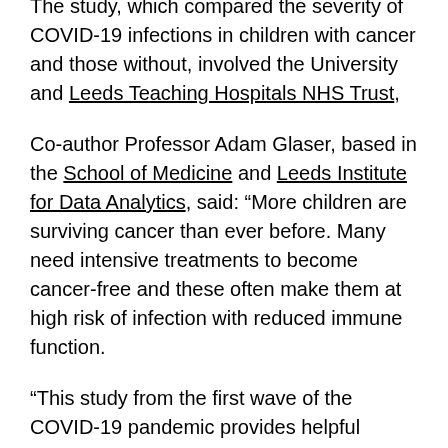The study, which compared the severity of COVID-19 infections in children with cancer and those without, involved the University and Leeds Teaching Hospitals NHS Trust,
Co-author Professor Adam Glaser, based in the School of Medicine and Leeds Institute for Data Analytics, said: “More children are surviving cancer than ever before. Many need intensive treatments to become cancer-free and these often make them at high risk of infection with reduced immune function.
“This study from the first wave of the COVID-19 pandemic provides helpful intelligence to re-assure young people with cancer, and their families, that COVID-19 does not represent a